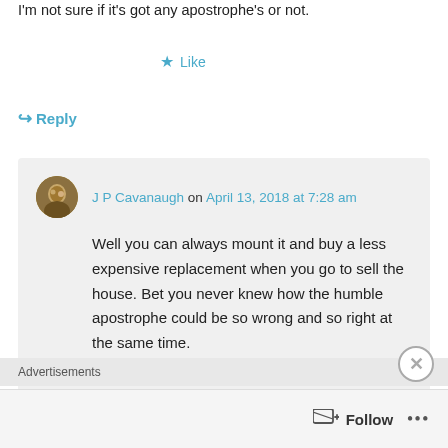I'm not sure if it's got any apostrophe's or not.
★ Like
↪ Reply
J P Cavanaugh on April 13, 2018 at 7:28 am
Well you can always mount it and buy a less expensive replacement when you go to sell the house. Bet you never knew how the humble apostrophe could be so wrong and so right at the same time.
★ Like
Advertisements
Follow ...